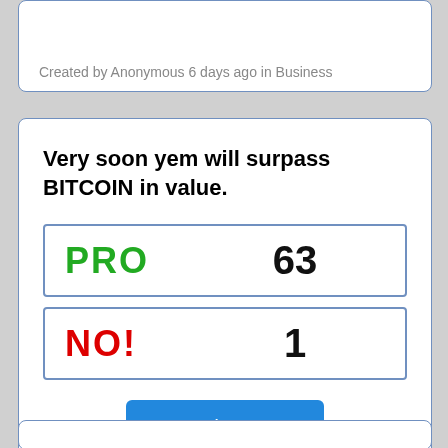Created by Anonymous 6 days ago in Business
Very soon yem will surpass BITCOIN in value.
| Vote | Count |
| --- | --- |
| PRO | 63 |
| NO! | 1 |
read more
Created by Anonymous 6 days ago in Business